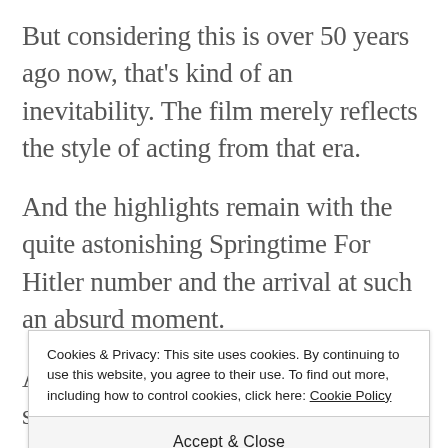But considering this is over 50 years ago now, that's kind of an inevitability. The film merely reflects the style of acting from that era.
And the highlights remain with the quite astonishing Springtime For Hitler number and the arrival at such an absurd moment.
A classic of '60s comedy? Goose steps! Sorry... we mean, yes! But by modern standards it s...
Cookies & Privacy: This site uses cookies. By continuing to use this website, you agree to their use. To find out more, including how to control cookies, click here: Cookie Policy
Accept & Close
The Producers